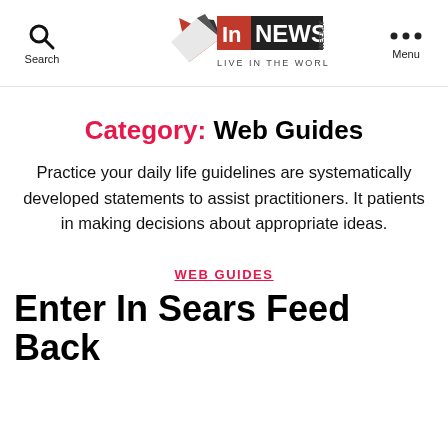[Figure (logo): InNews Weekly logo with tagline LIVE IN THE WORLD OF NEWS]
Category: Web Guides
Practice your daily life guidelines are systematically developed statements to assist practitioners. It patients in making decisions about appropriate ideas.
WEB GUIDES
Enter In Sears Feed Back